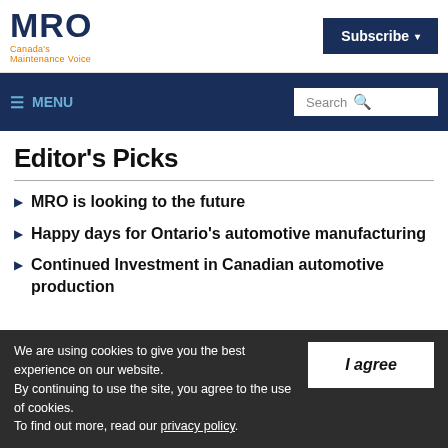MRO Canada's Maintenance Voice | Subscribe
MENU | Search
Editor's Picks
MRO is looking to the future
Happy days for Ontario's automotive manufacturing
Continued Investment in Canadian automotive production
We are using cookies to give you the best experience on our website. By continuing to use the site, you agree to the use of cookies. To find out more, read our privacy policy.